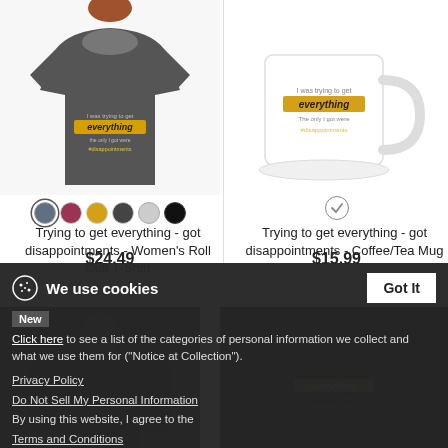[Figure (photo): Women's Roll Cuff T-Shirt in dark grey with 'trying to get everything got disappointments' graphic design]
[Figure (photo): White Coffee/Tea Mug with 'trying to get everything got disappointments' graphic design]
Trying to get everything - got disappointments - Women's Roll Cuff T-Shirt
$24.49
Trying to get everything - got disappointments - Coffee/Tea Mug
$15.99
We use cookies
Click here to see a list of the categories of personal information we collect and what we use them for ("Notice at Collection").
Privacy Policy
Do Not Sell My Personal Information
By using this website, I agree to the Terms and Conditions